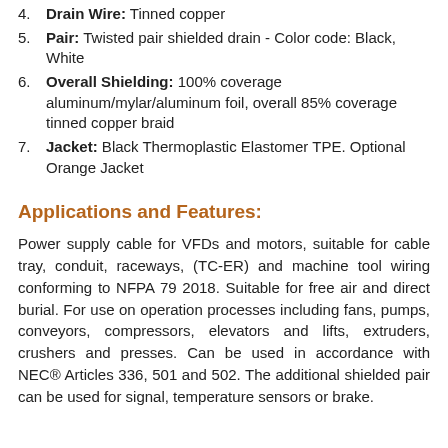4. Drain Wire: Tinned copper
5. Pair: Twisted pair shielded drain - Color code: Black, White
6. Overall Shielding: 100% coverage aluminum/mylar/aluminum foil, overall 85% coverage tinned copper braid
7. Jacket: Black Thermoplastic Elastomer TPE. Optional Orange Jacket
Applications and Features:
Power supply cable for VFDs and motors, suitable for cable tray, conduit, raceways, (TC-ER) and machine tool wiring conforming to NFPA 79 2018. Suitable for free air and direct burial. For use on operation processes including fans, pumps, conveyors, compressors, elevators and lifts, extruders, crushers and presses. Can be used in accordance with NEC® Articles 336, 501 and 502. The additional shielded pair can be used for signal, temperature sensors or brake.